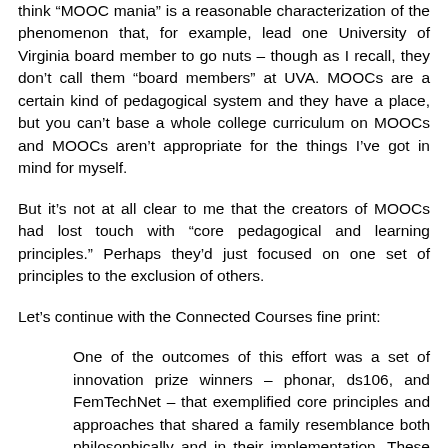think “MOOC mania” is a reasonable characterization of the phenomenon that, for example, lead one University of Virginia board member to go nuts – though as I recall, they don’t call them “board members” at UVA. MOOCs are a certain kind of pedagogical system and they have a place, but you can’t base a whole college curriculum on MOOCs and MOOCs aren’t appropriate for the things I’ve got in mind for myself.
But it’s not at all clear to me that the creators of MOOCs had lost touch with “core pedagogical and learning principles.” Perhaps they’d just focused on one set of principles to the exclusion of others.
Let’s continue with the Connected Courses fine print:
One of the outcomes of this effort was a set of innovation prize winners – phonar, ds106, and FemTechNet – that exemplified core principles and approaches that shared a family resemblance both philosophically and in their implementation. These courses were anchored in